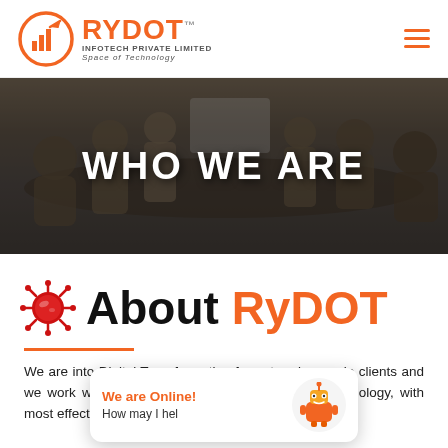RYDOT INFOTECH PRIVATE LIMITED — Space of Technology
[Figure (photo): Meeting room banner with people sitting around a conference table, dark overlay, text WHO WE ARE centered in white bold letters]
WHO WE ARE
About RyDOT
We are into Digital Transformation for enterprise grade clients and we work with much tech with new cutting edge technology, with most effective